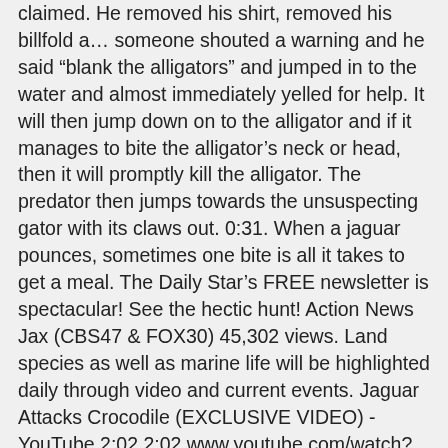claimed. He removed his shirt, removed his billfold a… someone shouted a warning and he said âblank the alligatorsâ and jumped in to the water and almost immediately yelled for help. It will then jump down on to the alligator and if it manages to bite the alligator's neck or head, then it will promptly kill the alligator. The predator then jumps towards the unsuspecting gator with its claws out. 0:31. When a jaguar pounces, sometimes one bite is all it takes to get a meal. The Daily Star's FREE newsletter is spectacular! See the hectic hunt! Action News Jax (CBS47 & FOX30) 45,302 views. Land species as well as marine life will be highlighted daily through video and current events. Jaguar Attacks Crocodile (EXCLUSIVE VIDEO) - YouTube 2:02 2:02 www.youtube.com/watch?v=DBNYwxDZ_pA Sep 26, 2013 - Uploaded by National Geographic Incredible moment jaguar jumps to catch giant otter Incredible moment jaguar jumps to catch giant otter Incredible moment jaguar jumps to catch giant otter Home › Beer and french fries, Palm Springs, California, 1939. An alligator's jump isn't just limited to jumping out of the water. Tragedy struck in Texas when one man lost his life after being killed by an alligator after jumping into a lake. The frog can detect both the change in the river and from...